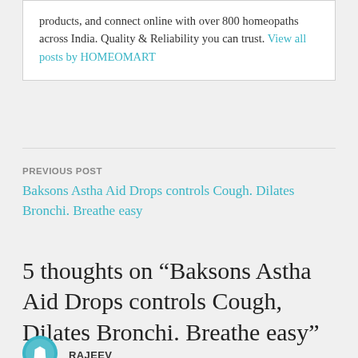products, and connect online with over 800 homeopaths across India. Quality & Reliability you can trust. View all posts by HOMEOMART
PREVIOUS POST
Baksons Astha Aid Drops controls Cough. Dilates Bronchi. Breathe easy
5 thoughts on “Baksons Astha Aid Drops controls Cough, Dilates Bronchi. Breathe easy”
RAJEEV